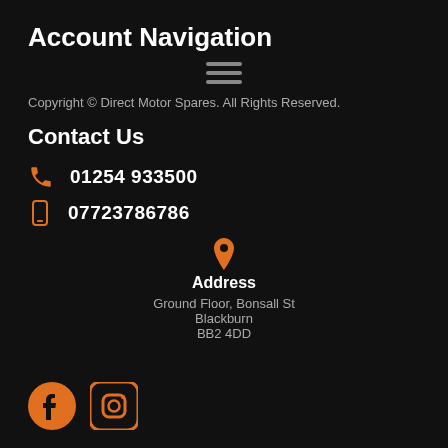Account Navigation
[Figure (illustration): Hamburger menu icon (three horizontal lines)]
Copyright © Direct Motor Spares. All Rights Reserved.
Contact Us
01254 933500
07723786786
Address
Ground Floor, Bonsall St
Blackburn
BB2 4DD
[Figure (illustration): Facebook and Instagram social media icons in orange]